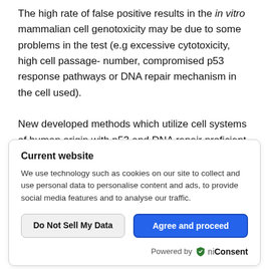The high rate of false positive results in the in vitro mammalian cell genotoxicity may be due to some problems in the test (e.g excessive cytotoxicity, high cell passage-number, compromised p53 response pathways or DNA repair mechanism in the cell used).

New developed methods which utilize cell systems of human origin with p53 and DNA repair proficient , and with phase I and II metabolism are considered to offer the best option to
[Figure (screenshot): Cookie consent overlay popup with title 'Current website', body text about cookies, two buttons ('Do Not Sell My Data' and 'Agree and proceed'), and 'Powered by OniConsent' footer.]